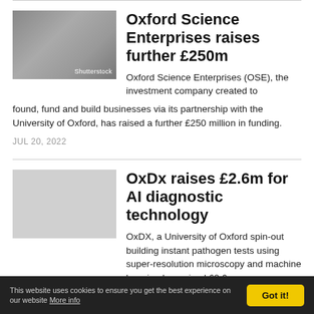[Figure (photo): Photo of hands/person with Shutterstock watermark, associated with Oxford Science Enterprises article]
Oxford Science Enterprises raises further £250m
Oxford Science Enterprises (OSE), the investment company created to found, fund and build businesses via its partnership with the University of Oxford, has raised a further £250 million in funding.
JUL 20, 2022
OxDx raises £2.6m for AI diagnostic technology
OxDX, a University of Oxford spin-out building instant pathogen tests using super-resolution microscopy and machine learning has raised £2.6
This website uses cookies to ensure you get the best experience on our website More info